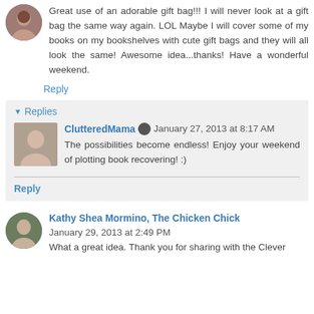[Figure (photo): Small circular avatar photo of a person with dark hair]
Great use of an adorable gift bag!!! I will never look at a gift bag the same way again. LOL Maybe I will cover some of my books on my bookshelves with cute gift bags and they will all look the same! Awesome idea...thanks! Have a wonderful weekend.
Reply
Replies
[Figure (photo): Small square avatar photo of a woman]
ClutteredMama January 27, 2013 at 8:17 AM
The possibilities become endless! Enjoy your weekend of plotting book recovering! :)
Reply
[Figure (photo): Small circular avatar photo of a woman]
Kathy Shea Mormino, The Chicken Chick January 29, 2013 at 2:49 PM
What a great idea. Thank you for sharing with the Clever